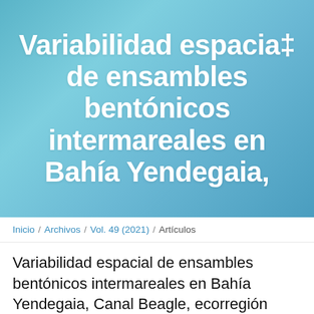Variabilidad espacial de ensambles bentónicos intermareales en Bahía Yendegaia,
Inicio / Archivos / Vol. 49 (2021) / Artículos
Variabilidad espacial de ensambles bentónicos intermareales en Bahía Yendegaia, Canal Beagle, ecorregión subantártica de Magallanes